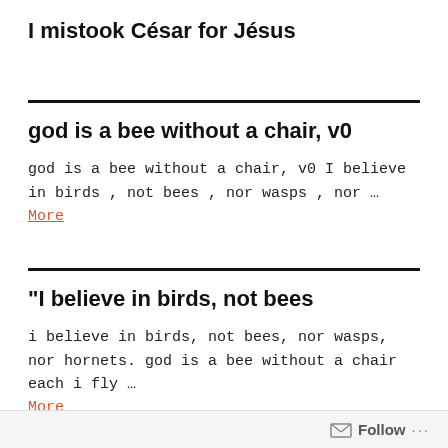I mistook César for Jésus
god is a bee without a chair, v0
god is a bee without a chair, v0 I believe in birds , not bees , nor wasps , nor … More
“I believe in birds, not bees
i believe in birds, not bees, nor wasps, nor hornets. god is a bee without a chair each i fly … More
Follow …